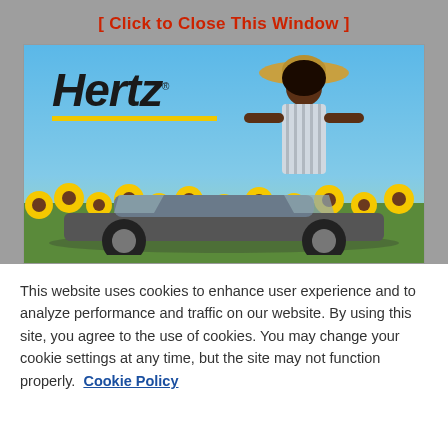[ Click to Close This Window ]
[Figure (illustration): Hertz car rental advertisement showing a woman in a striped dress and straw hat standing beside a convertible car in a sunflower field. The Hertz logo with yellow underline is in the upper left.]
This website uses cookies to enhance user experience and to analyze performance and traffic on our website. By using this site, you agree to the use of cookies. You may change your cookie settings at any time, but the site may not function properly.  Cookie Policy